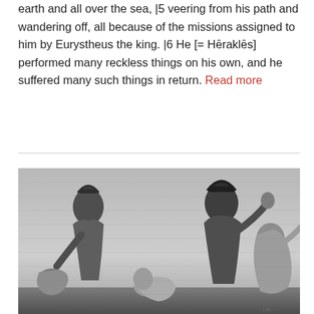He [= Hēraklēs] used to travel all over the boundless earth and all over the sea, |5 veering from his path and wandering off, all because of the missions assigned to him by Eurystheus the king. |6 He [= Hēraklēs] performed many reckless things on his own, and he suffered many such things in return. Read more
[Figure (illustration): A black and white engraving depicting ancient Greek or Roman warriors in helmets and cloaks engaged in a dramatic scene, with figures appearing to struggle or be overcome.]